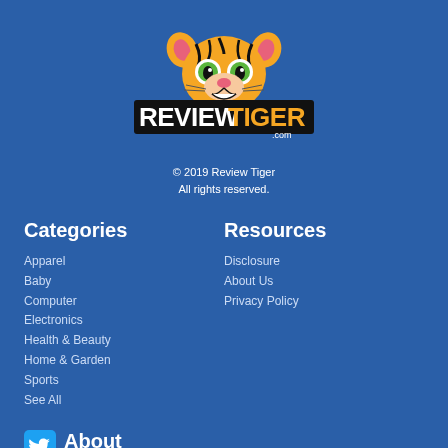[Figure (logo): ReviewTiger.com logo with cartoon tiger face above stylized text 'REVIEWTIGER.com']
© 2019 Review Tiger
All rights reserved.
Categories
Apparel
Baby
Computer
Electronics
Health & Beauty
Home & Garden
Sports
See All
Resources
Disclosure
About Us
Privacy Policy
About
ReviewTiger.com is the ultimate resource for product reviews and consumer reviews. If there's a website you're considering shopping at be sure to check ReviewTiger.com first!